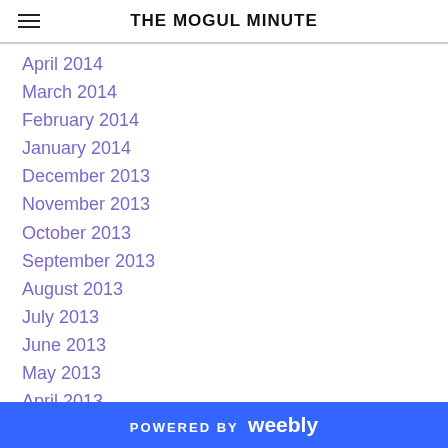THE MOGUL MINUTE
April 2014
March 2014
February 2014
January 2014
December 2013
November 2013
October 2013
September 2013
August 2013
July 2013
June 2013
May 2013
April 2013
March 2013
February 2013
January 2013
POWERED BY weebly